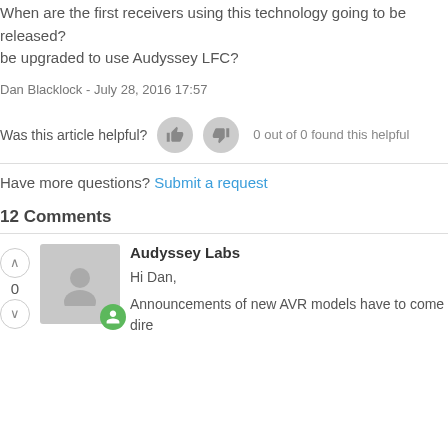When are the first receivers using this technology going to be released? be upgraded to use Audyssey LFC?
Dan Blacklock - July 28, 2016 17:57
Was this article helpful? 0 out of 0 found this helpful
Have more questions? Submit a request
12 Comments
Audyssey Labs
Hi Dan,
Announcements of new AVR models have to come dire